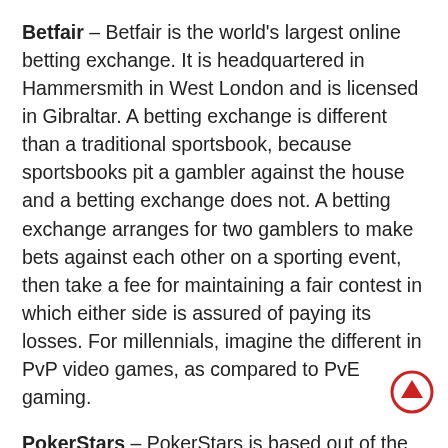Betfair – Betfair is the world's largest online betting exchange. It is headquartered in Hammersmith in West London and is licensed in Gibraltar. A betting exchange is different than a traditional sportsbook, because sportsbooks pit a gambler against the house and a betting exchange does not. A betting exchange arranges for two gamblers to make bets against each other on a sporting event, then take a fee for maintaining a fair contest in which either side is assured of paying its losses. For millennials, imagine the different in PvP video games, as compared to PvE gaming.
PokerStars – PokerStars is based out of the Isle of Man, a small British Crown Dependence in the Irish Sea between England and Ireland. PokerStars is the number one online poker site in the world, with a community of players three to five times larger than any one other competitor.